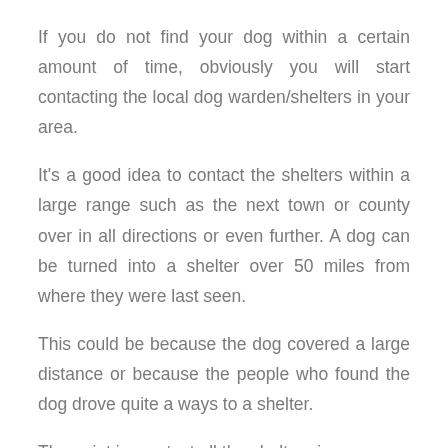If you do not find your dog within a certain amount of time, obviously you will start contacting the local dog warden/shelters in your area.
It's a good idea to contact the shelters within a large range such as the next town or county over in all directions or even further. A dog can be turned into a shelter over 50 miles from where they were last seen.
This could be because the dog covered a large distance or because the people who found the dog drove quite a ways to a shelter.
The point is, contact all the shelters in your